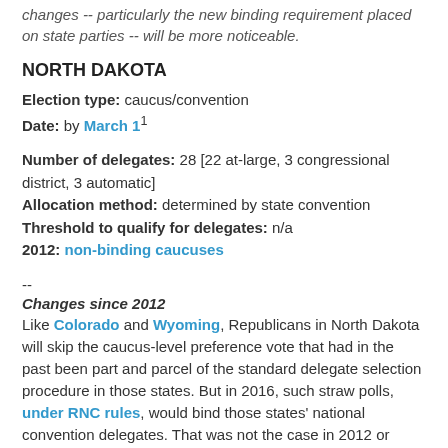changes -- particularly the new binding requirement placed on state parties -- will be more noticeable.
NORTH DAKOTA
Election type: caucus/convention
Date: by March 1¹
Number of delegates: 28 [22 at-large, 3 congressional district, 3 automatic]
Allocation method: determined by state convention
Threshold to qualify for delegates: n/a
2012: non-binding caucuses
--
Changes since 2012
Like Colorado and Wyoming, Republicans in North Dakota will skip the caucus-level preference vote that had in the past been part and parcel of the standard delegate selection procedure in those states. But in 2016, such straw polls, under RNC rules, would bind those states' national convention delegates. That was not the case in 2012 or before. So, as was in 2012, Colorado and North Dakota...